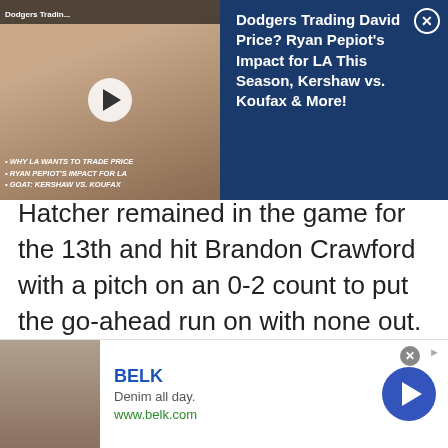[Figure (screenshot): Video ad thumbnail: Dodgers Trading David Price? with play button overlay, bullet points listing WHY LA WANTS TO TRADE PRICE, RYAN PEPIOT'S IMPACT FOR LA, GOAT: KERSHAW VS. KOUFAX]
Dodgers Trading David Price? Ryan Pepiot's Impact for LA This Season, Kershaw vs. Koufax & More!
Hatcher remained in the game for the 13th and hit Brandon Crawford with a pitch on an 0-2 count to put the go-ahead run on with none out. The Dodger right-hander overcame the miscue by retiring the next three batters faced.

Turner drew a one-out walk in the bottom of the 13th and moved into scoring position by steali...
[Figure (screenshot): BELK advertisement: Denim all day. www.belk.com with fashion photo and blue arrow button]